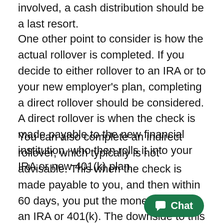involved, a cash distribution should be a last resort.
One other point to consider is how the actual rollover is completed. If you decide to either rollover to an IRA or to your new employer's plan, completing a direct rollover should be considered. A direct rollover is when the check is made payable to the new financial institution, who then rolls it into your IRA or new 401(k) plan.
You can also complete an indirect rollover, which typically is not advisable. This when the check is made payable to you, and then within 60 days, you put the money back into an IRA or 401(k). The downside to this is the employer plan is still required by the IRS to withhold 20% of th on. You
[Figure (other): Chat widget button with green rounded rectangle background showing chat icon and 'Chat' text]